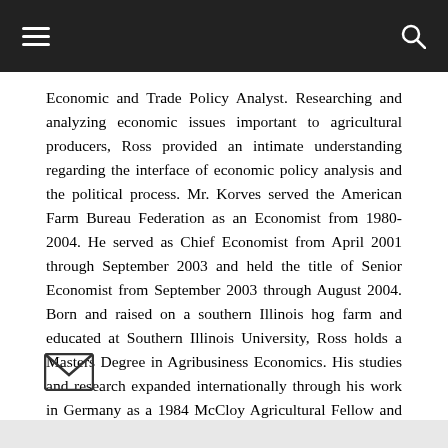≡  🔍
Economic and Trade Policy Analyst. Researching and analyzing economic issues important to agricultural producers, Ross provided an intimate understanding regarding the interface of economic policy analysis and the political process. Mr. Korves served the American Farm Bureau Federation as an Economist from 1980-2004. He served as Chief Economist from April 2001 through September 2003 and held the title of Senior Economist from September 2003 through August 2004. Born and raised on a southern Illinois hog farm and educated at Southern Illinois University, Ross holds a Masters Degree in Agribusiness Economics. His studies and research expanded internationally through his work in Germany as a 1984 McCloy Agricultural Fellow and study travel to Japan in 1982, Zambia and Kenya in 1985 and Germany in 1987.
[Figure (other): Email envelope icon]